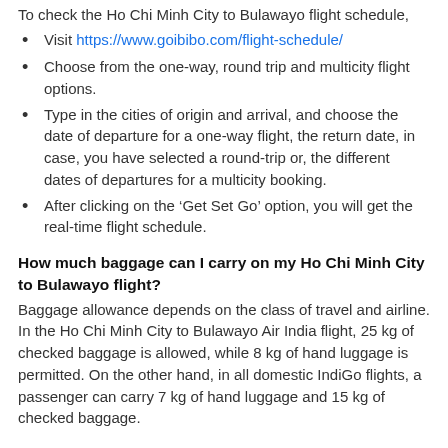To check the Ho Chi Minh City to Bulawayo flight schedule,
Visit https://www.goibibo.com/flight-schedule/
Choose from the one-way, round trip and multicity flight options.
Type in the cities of origin and arrival, and choose the date of departure for a one-way flight, the return date, in case, you have selected a round-trip or, the different dates of departures for a multicity booking.
After clicking on the ‘Get Set Go’ option, you will get the real-time flight schedule.
How much baggage can I carry on my Ho Chi Minh City to Bulawayo flight?
Baggage allowance depends on the class of travel and airline. In the Ho Chi Minh City to Bulawayo Air India flight, 25 kg of checked baggage is allowed, while 8 kg of hand luggage is permitted. On the other hand, in all domestic IndiGo flights, a passenger can carry 7 kg of hand luggage and 15 kg of checked baggage.
Where will I board my flight at Ho Chi Minh City and deboard at